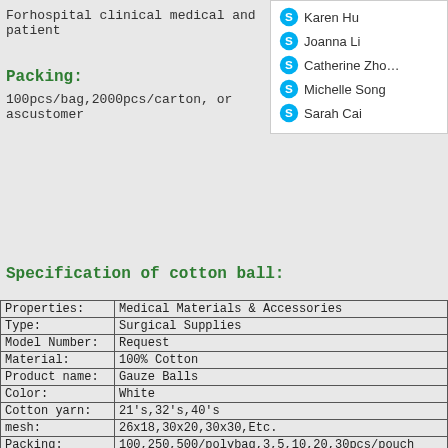Forhospital clinical medical and patient
[Figure (screenshot): Skype contact panel showing icons and names: Karen Hu, Joanna Li, Catherine Zhou, Michelle Song, Sarah Cai]
Packing:
100pcs/bag,2000pcs/carton, or ascustomer
Specification of cotton ball:
| Property | Value |
| --- | --- |
| Properties: | Medical Materials & Accessories |
| Type: | Surgical Supplies |
| Model Number: | Request |
| Material: | 100% Cotton |
| Product name: | Gauze Balls |
| Color: | White |
| Cotton yarn: | 21's,32's,40's |
| mesh: | 26x18,30x20,30x30,Etc. |
| Packing: | 100,250,500/polybag,3,5,10,20,30pcs/pouch |
| Certificate: | CE/ISO13485 |
| Usage: | For wound cleansing and for skin disinfection |